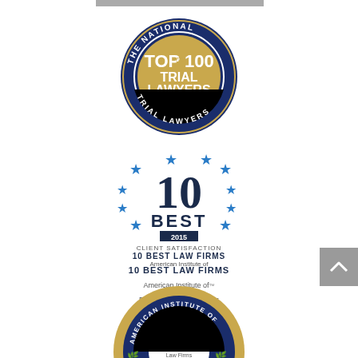[Figure (logo): The National Top 100 Trial Lawyers circular badge — dark navy blue ring with gold text 'THE NATIONAL TRIAL LAWYERS' around the perimeter, gold center circle with blue text 'TOP 100 TRIAL LAWYERS' and a justice figure]
[Figure (logo): 10 Best 2015 Client Satisfaction badge — blue stars arranged around large '10' numeral, text '10 BEST LAW FIRMS', 'American Institute of Personal Injury Attorneys']
[Figure (logo): American Institute of Personal Injury Attorneys circular seal — gold laurel wreath border, inner blue circle, '10 Law Firms' text, partially visible at bottom of page]